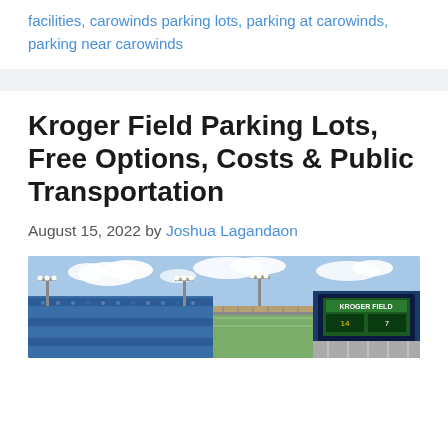facilities, carowinds parking lots, parking at carowinds, parking near carowinds
Kroger Field Parking Lots, Free Options, Costs & Public Transportation
August 15, 2022 by Joshua Lagandaon
[Figure (photo): Panoramic photo of Kroger Field stadium exterior with stands full of fans, light poles, blue sky with clouds, and a Kroger Field scoreboard sign visible on the right.]